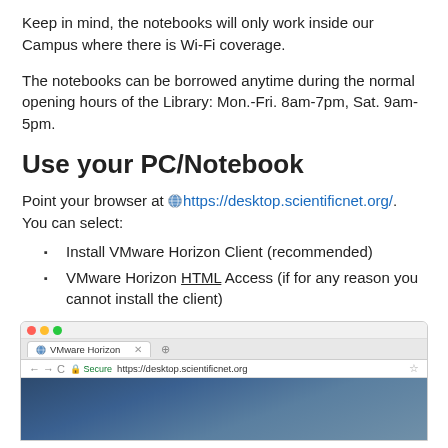Keep in mind, the notebooks will only work inside our Campus where there is Wi-Fi coverage.
The notebooks can be borrowed anytime during the normal opening hours of the Library: Mon.-Fri. 8am-7pm, Sat. 9am-5pm.
Use your PC/Notebook
Point your browser at 🌐 https://desktop.scientificnet.org/. You can select:
Install VMware Horizon Client (recommended)
VMware Horizon HTML Access (if for any reason you cannot install the client)
[Figure (screenshot): Browser screenshot showing Chrome browser open to https://desktop.scientificnet.org with the VMware Horizon page loaded, showing a dark blueish background image.]